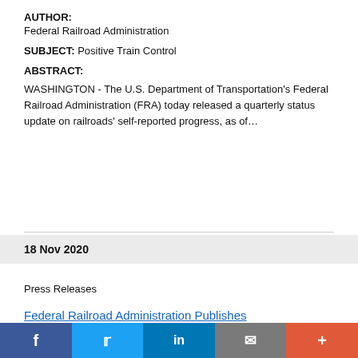AUTHOR: Federal Railroad Administration
SUBJECT: Positive Train Control
ABSTRACT:
WASHINGTON - The U.S. Department of Transportation's Federal Railroad Administration (FRA) today released a quarterly status update on railroads' self-reported progress, as of...
18 Nov 2020
Press Releases
Federal Railroad Administration Publishes